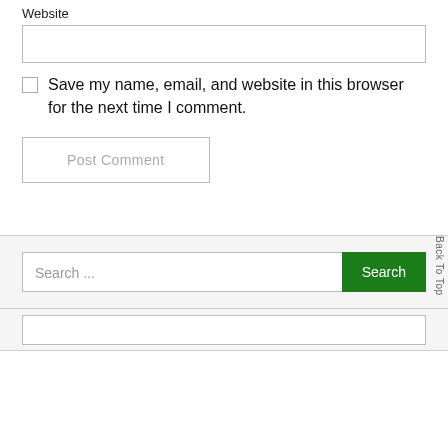Website
Save my name, email, and website in this browser for the next time I comment.
Post Comment
Search ...
Search
Back To Top